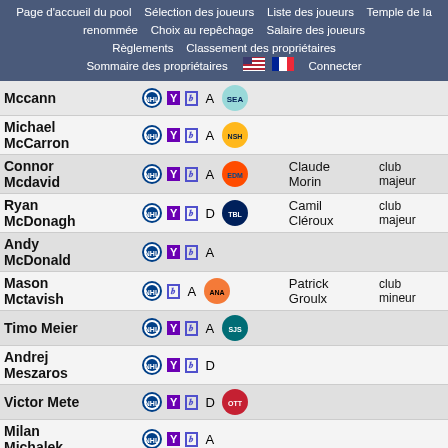Page d'accueil du pool  Sélection des joueurs  Liste des joueurs  Temple de la renommée  Choix au repêchage  Salaire des joueurs  Règlements  Classement des propriétaires  Sommaire des propriétaires  Connecter
| Joueur | Icônes | Pos | Équipe | Propriétaire | Club |
| --- | --- | --- | --- | --- | --- |
| Mccann | NHL Y CBS A | Kraken |  |  |
| Michael McCarron | NHL Y CBS A | Predators |  |  |
| Connor Mcdavid | NHL Y CBS A | Oilers | Claude Morin | club majeur |
| Ryan McDonagh | NHL Y CBS D | Lightning | Camil Cléroux | club majeur |
| Andy McDonald | NHL Y CBS A |  |  |  |
| Mason Mctavish | NHL CBS A | Ducks | Patrick Groulx | club mineur |
| Timo Meier | NHL Y CBS A | Sharks |  |  |
| Andrej Meszaros | NHL Y CBS D |  |  |  |
| Victor Mete | NHL Y CBS D | Senators |  |  |
| Milan Michalek | NHL Y CBS A |  |  |  |
| Ilya Mikheyev | NHL CBS A | Maple Leafs |  |  |